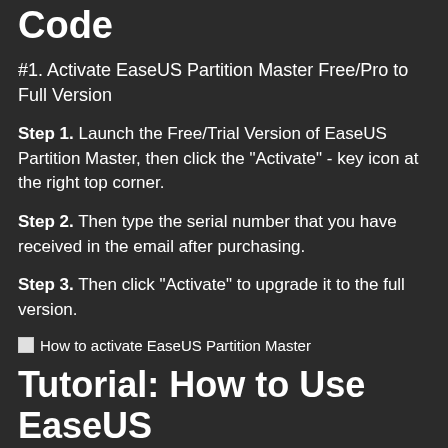Code
#1. Activate EaseUS Partition Master Free/Pro to Full Version
Step 1. Launch the Free/Trial Version of EaseUS Partition Master, then click the "Activate" - key icon at the right top corner.
Step 2. Then type the serial number that you have received in the email after purchasing.
Step 3. Then click "Activate" to upgrade it to the full version.
[Figure (photo): Broken image placeholder labeled 'How to activate EaseUS Partition Master']
Tutorial: How to Use EaseUS